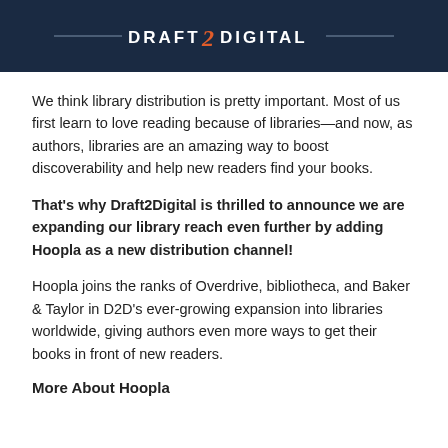[Figure (logo): Draft2Digital logo on dark navy background with decorative lines on either side]
We think library distribution is pretty important. Most of us first learn to love reading because of libraries—and now, as authors, libraries are an amazing way to boost discoverability and help new readers find your books.
That's why Draft2Digital is thrilled to announce we are expanding our library reach even further by adding Hoopla as a new distribution channel!
Hoopla joins the ranks of Overdrive, bibliotheca, and Baker & Taylor in D2D's ever-growing expansion into libraries worldwide, giving authors even more ways to get their books in front of new readers.
More About Hoopla